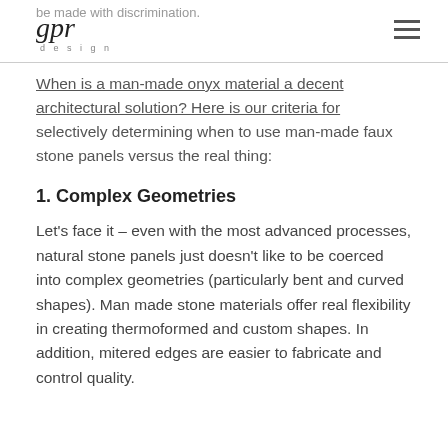be made with discrimination.
When is a man-made onyx material a decent architectural solution? Here is our criteria for selectively determining when to use man-made faux stone panels versus the real thing:
1. Complex Geometries
Let's face it – even with the most advanced processes, natural stone panels just doesn't like to be coerced into complex geometries (particularly bent and curved shapes). Man made stone materials offer real flexibility in creating thermoformed and custom shapes. In addition, mitered edges are easier to fabricate and control quality.